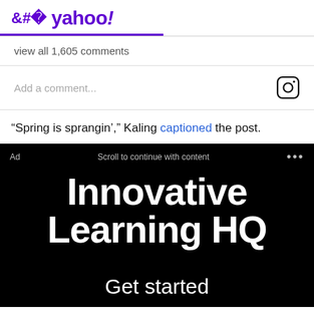< yahoo!
view all 1,605 comments
Add a comment...
“Spring is sprangin’,” Kaling captioned the post.
[Figure (screenshot): Advertisement for Innovative Learning HQ on a black background with white bold text reading 'Innovative Learning HQ' and 'Get started'. Ad bar at top reads 'Ad', 'Scroll to continue with content', '...']